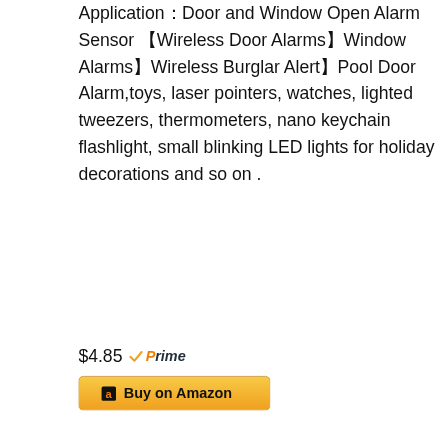Application：Door and Window Open Alarm Sensor【Wireless Door Alarms】Window Alarms】Wireless Burglar Alert】Pool Door Alarm,toys, laser pointers, watches, lighted tweezers, thermometers, nano keychain flashlight, small blinking LED lights for holiday decorations and so on .
$4.85 Prime
Buy on Amazon
[Figure (photo): Four red battery packs labeled 10PCS, 1.5V with brand logo, partially shown at bottom of page]